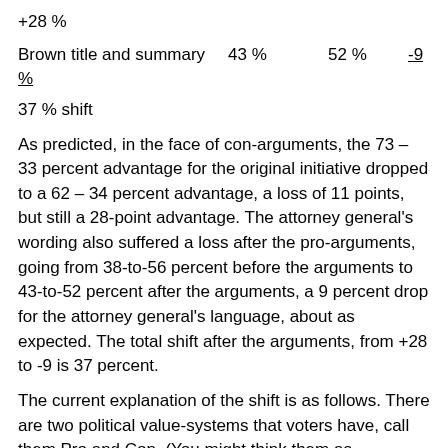+28 %
Brown title and summary    43 %    52 %    -9 %
37 % shift
As predicted, in the face of con-arguments, the 73 – 33 percent advantage for the original initiative dropped to a 62 – 34 percent advantage, a loss of 11 points, but still a 28-point advantage. The attorney general's wording also suffered a loss after the pro-arguments, going from 38-to-56 percent before the arguments to 43-to-52 percent after the arguments, a 9 percent drop for the attorney general's language, about as expected. The total shift after the arguments, from +28 to -9 is 37 percent.
The current explanation of the shift is as follows. There are two political value-systems that voters have, call them Pro and Con. (You might think them as Progressive and Conservative, though no overall views are tested in the poll.)